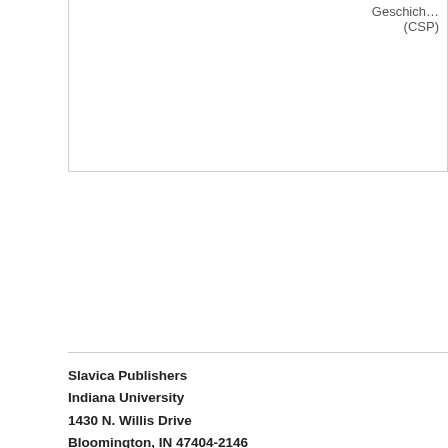Geschichte... (CSP)
Slavica Publishers
Indiana University
1430 N. Willis Drive
Bloomington, IN 47404-2146
Orders: 877-SLAVI...
Fax: 812-856-4187
Email: slavica@ind...